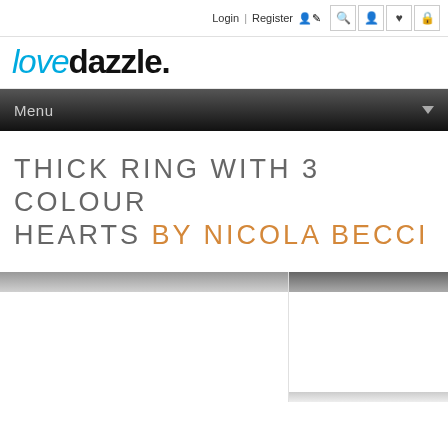Login | Register
[Figure (logo): lovedazzle. logo — 'love' in blue italic, 'dazzle.' in black bold]
Menu
THICK RING WITH 3 COLOUR HEARTS BY NICOLA BECCI
[Figure (photo): Product image area — main large photo placeholder and smaller thumbnail sidebar, partially visible]